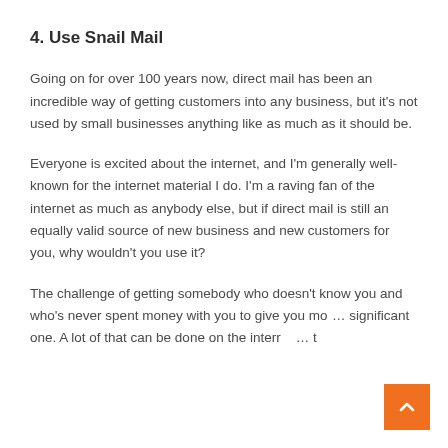4. Use Snail Mail
Going on for over 100 years now, direct mail has been an incredible way of getting customers into any business, but it’s not used by small businesses anything like as much as it should be.
Everyone is excited about the internet, and I’m generally well-known for the internet material I do. I’m a raving fan of the internet as much as anybody else, but if direct mail is still an equally valid source of new business and new customers for you, why wouldn’t you use it?
The challenge of getting somebody who doesn’t know you and who’s never spent money with you to give you mo… significant one. A lot of that can be done on the interr… t